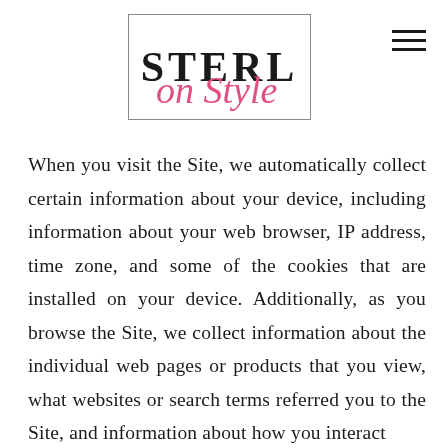[Figure (logo): STERL on Style logo with block serif text 'STERL' inside a rectangular border and cursive pink script 'on Style' below, with a hamburger menu icon at top right]
When you visit the Site, we automatically collect certain information about your device, including information about your web browser, IP address, time zone, and some of the cookies that are installed on your device. Additionally, as you browse the Site, we collect information about the individual web pages or products that you view, what websites or search terms referred you to the Site, and information about how you interact